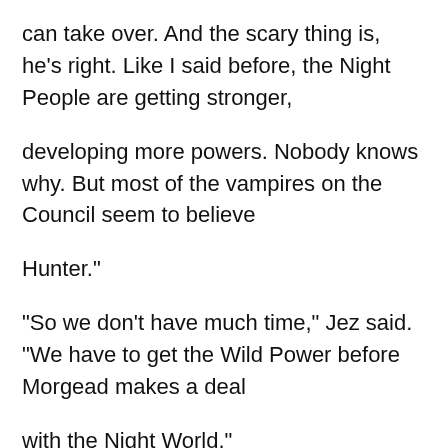can take over. And the scary thing is, he's right. Like I said before, the Night People are getting stronger,
developing more powers. Nobody knows why. But most of the vampires on the Council seem to believe
Hunter."
"So we don't have much time," Jez said. "We have to get the Wild Power before Morgead makes a deal
with the Night World."